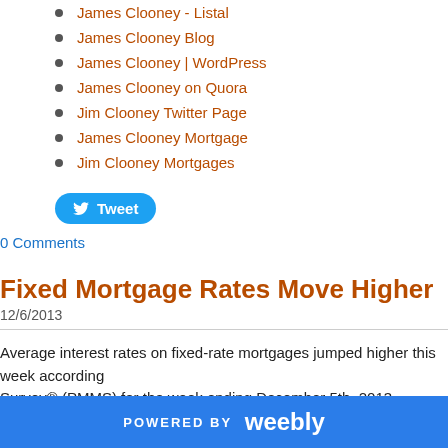James Clooney - Listal
James Clooney Blog
James Clooney | WordPress
James Clooney on Quora
Jim Clooney Twitter Page
James Clooney Mortgage
Jim Clooney Mortgages
Tweet
0 Comments
Fixed Mortgage Rates Move Higher
12/6/2013
Average interest rates on fixed-rate mortgages jumped higher this week according to the Primary Mortgage Market Survey® (PMMS) for the week ending December 5th, 2013.
Fixed Rate Mortgages:
POWERED BY weebly